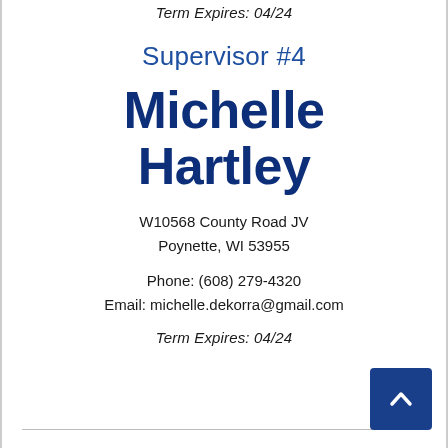Term Expires: 04/24
Supervisor #4
Michelle Hartley
W10568 County Road JV
Poynette, WI 53955
Phone: (608) 279-4320
Email: michelle.dekorra@gmail.com
Term Expires: 04/24